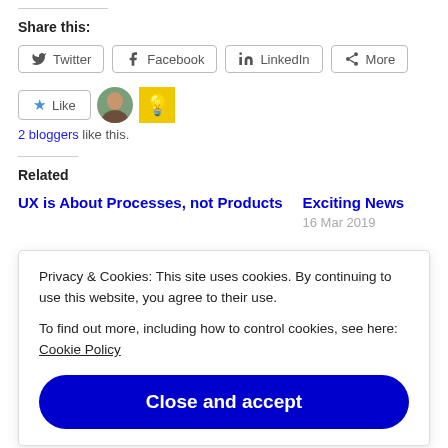Share this:
Twitter  Facebook  LinkedIn  More
Like  2 bloggers like this.
Related
UX is About Processes, not Products
Exciting News
16 Mar 2019
Privacy & Cookies: This site uses cookies. By continuing to use this website, you agree to their use.
To find out more, including how to control cookies, see here: Cookie Policy
Close and accept